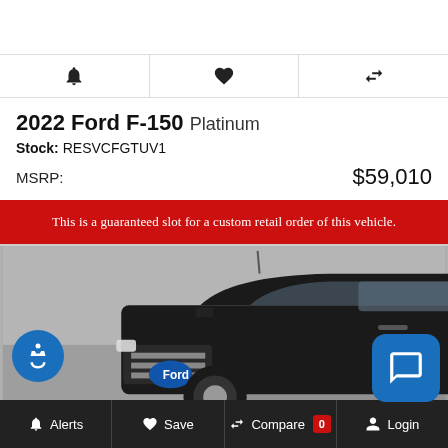[Figure (screenshot): Top spacer area of a vehicle listing webpage]
[Figure (infographic): Icon row with three icons: alert bell, heart/save, and compare arrows]
2022 Ford F-150 Platinum
Stock: RESVCFGTUV1
MSRP: $59,010
This is a guaranteed slot for a custom retail order of this vehicle.
[Figure (photo): Dark colored 2022 Ford F-150 Platinum truck photographed at an angle, showing front and driver side]
Alerts  Save  Compare 0  Login